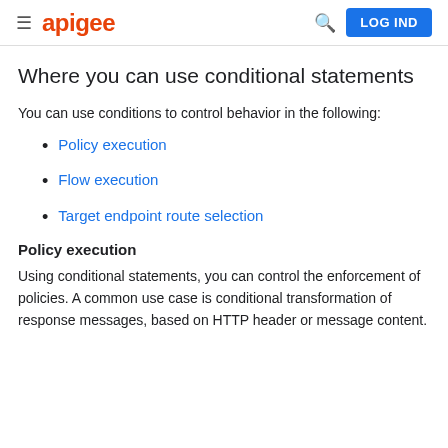≡ apigee   🔍 LOG IND
Where you can use conditional statements
You can use conditions to control behavior in the following:
Policy execution
Flow execution
Target endpoint route selection
Policy execution
Using conditional statements, you can control the enforcement of policies. A common use case is conditional transformation of response messages, based on HTTP header or message content.